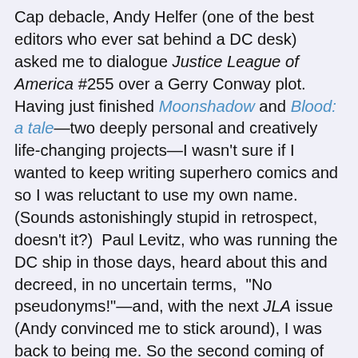Cap debacle, Andy Helfer (one of the best editors who ever sat behind a DC desk) asked me to dialogue Justice League of America #255 over a Gerry Conway plot.  Having just finished Moonshadow and Blood:  a tale—two deeply personal and creatively life-changing projects—I wasn't sure if I wanted to keep writing superhero comics and so I was reluctant to use my own name. (Sounds astonishingly stupid in retrospect, doesn't it?)  Paul Levitz, who was running the DC ship in those days, heard about this and decreed, in no uncertain terms,  "No pseudonyms!"—and, with the next JLA issue (Andy convinced me to stick around), I was back to being me. So the second coming of Michael Ellis wasn't the same as Cap #300, where I took my name off because my story had been turned inside out (and sideways) by The Powers That Be. Conway's plot was excellent and my dialogue was exactly as I wrote it. I was just going through an odd creative crisis that, happily, passed. In fact, a few months after writing the finale for Conway's JL Detroit era, I found myself working on a revived, revamped Justice League with mad genius (and all-around swell guy) Keith Giffen and embarking on one of the most wonderful gigs of my career.